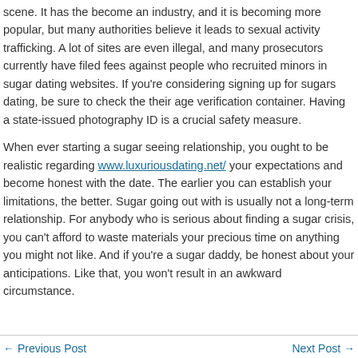scene. It has the become an industry, and it is becoming more popular, but many authorities believe it leads to sexual activity trafficking. A lot of sites are even illegal, and many prosecutors currently have filed fees against people who recruited minors in sugar dating websites. If you're considering signing up for sugars dating, be sure to check the their age verification container. Having a state-issued photography ID is a crucial safety measure.
When ever starting a sugar seeing relationship, you ought to be realistic regarding www.luxuriousdating.net/ your expectations and become honest with the date. The earlier you can establish your limitations, the better. Sugar going out with is usually not a long-term relationship. For anybody who is serious about finding a sugar crisis, you can't afford to waste materials your precious time on anything you might not like. And if you're a sugar daddy, be honest about your anticipations. Like that, you won't result in an awkward circumstance.
← Previous Post    Next Post →